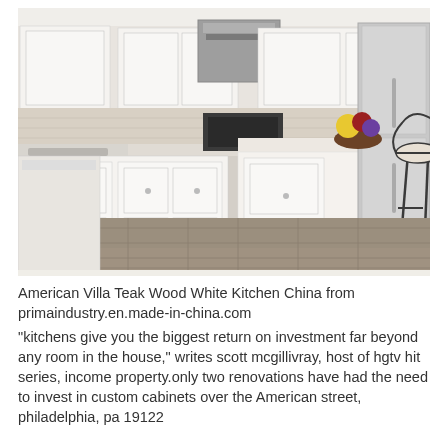[Figure (photo): Kitchen interior with white cabinetry, stainless steel appliances including a range hood and refrigerator, a central island with white countertop, decorative fruit bowl, wrought-iron bar stool, and stone tile flooring.]
American Villa Teak Wood White Kitchen China from primaindustry.en.made-in-china.com
"kitchens give you the biggest return on investment far beyond any room in the house," writes scott mcgillivray, host of hgtv hit series, income property.only two renovations have had the need to invest in custom cabinets over the  American street, philadelphia, pa 19122